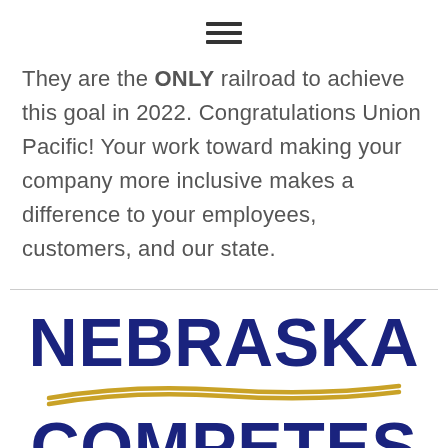[Figure (other): Hamburger menu icon — three horizontal black bars centered at top of page]
They are the ONLY railroad to achieve this goal in 2022. Congratulations Union Pacific! Your work toward making your company more inclusive makes a difference to your employees, customers, and our state.
[Figure (logo): Nebraska Competes logo — bold dark blue text 'NEBRASKA' on top, two gold wavy lines in the middle, bold dark blue text 'COMPETES' below]